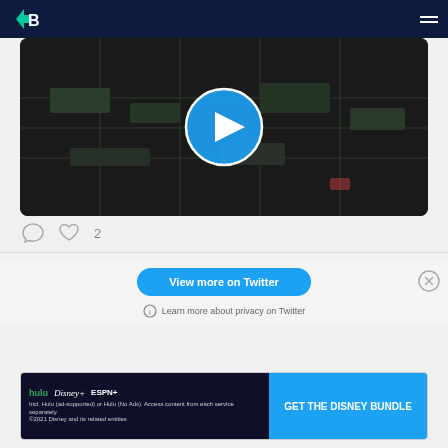Navigation bar with logo and hamburger menu
[Figure (screenshot): Video thumbnail showing aerial/overhead view of a facility with a large cyan play button circle overlay in the center]
Comment icon, Heart icon with count: 2
View more on Twitter
Learn more about privacy on Twitter
[Figure (screenshot): Disney Bundle advertisement: hulu Disney+ ESPN+ GET THE DISNEY BUNDLE. Incl. Hulu (ad-supported) or Hulu (No Ads). Access content from each service separately. ©2021 Disney and its related entities]